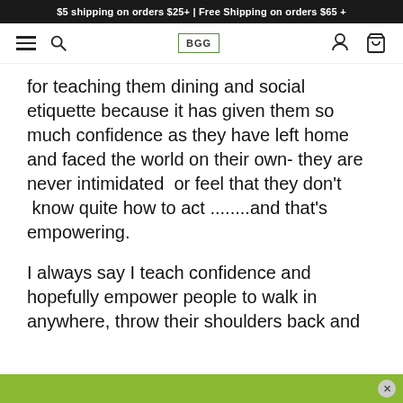$5 shipping on orders $25+ | Free Shipping on orders $65 +
[Figure (screenshot): Navigation bar with hamburger menu, search icon, BGG logo, user icon, and cart icon]
for teaching them dining and social etiquette because it has given them so much confidence as they have left home and faced the world on their own- they are never intimidated  or feel that they don't  know quite how to act ........and that's empowering.
I always say I teach confidence and hopefully empower people to walk in anywhere, throw their shoulders back and